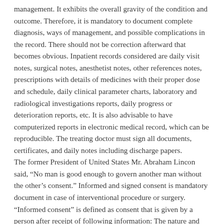management. It exhibits the overall gravity of the condition and outcome. Therefore, it is mandatory to document complete diagnosis, ways of management, and possible complications in the record. There should not be correction afterward that becomes obvious. Inpatient records considered are daily visit notes, surgical notes, anesthetist notes, other references notes, prescriptions with details of medicines with their proper dose and schedule, daily clinical parameter charts, laboratory and radiological investigations reports, daily progress or deterioration reports, etc. It is also advisable to have computerized reports in electronic medical record, which can be reproducible. The treating doctor must sign all documents, certificates, and daily notes including discharge papers.
The former President of United States Mr. Abraham Lincon said, “No man is good enough to govern another man without the other’s consent.” Informed and signed consent is mandatory document in case of interventional procedure or surgery. “Informed consent” is defined as consent that is given by a person after receipt of following information: The nature and purpose of the proposed procedure or treatment;